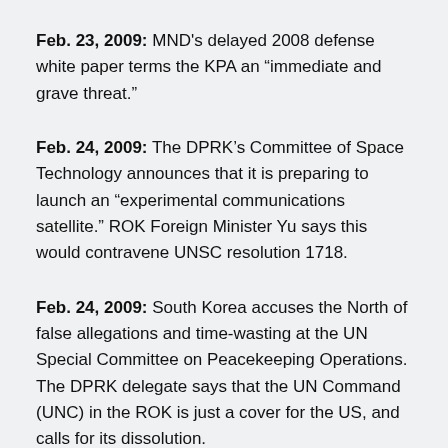Feb. 23, 2009: MND's delayed 2008 defense white paper terms the KPA an “immediate and grave threat.”
Feb. 24, 2009: The DPRK’s Committee of Space Technology announces that it is preparing to launch an “experimental communications satellite.” ROK Foreign Minister Yu says this would contravene UNSC resolution 1718.
Feb. 24, 2009: South Korea accuses the North of false allegations and time-wasting at the UN Special Committee on Peacekeeping Operations. The DPRK delegate says that the UN Command (UNC) in the ROK is just a cover for the US, and calls for its dissolution.